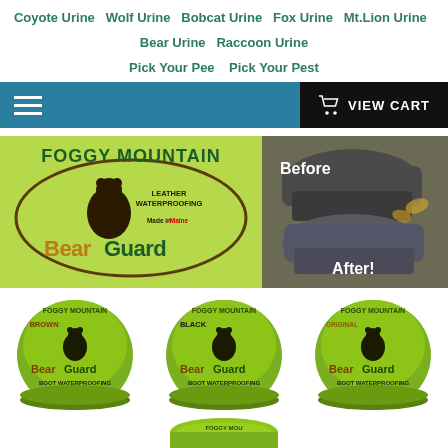Coyote Urine  Wolf Urine  Bobcat Urine  Fox Urine  Mt.Lion Urine  Bear Urine  Raccoon Urine
Pick Your Pee  Pick Your Pest
[Figure (screenshot): Navigation bar with hamburger menu on left and VIEW CART button on right]
[Figure (logo): Foggy Mountain BearGuard Leather Waterproofing logo with bear illustration, Made in Maine]
[Figure (photo): Before and After photo of boots showing waterproofing effect]
[Figure (photo): Three tins of Foggy Mountain BearGuard Boot Waterproofing in Brown, Black, and Original varieties]
[Figure (photo): Partial view of a fourth tin of Foggy Mountain BearGuard product at bottom of page]